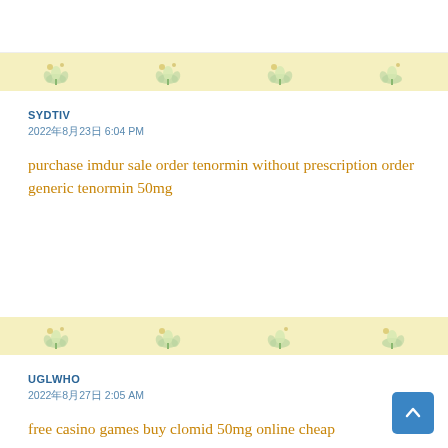SYDTIV
2022年8月23日 6:04 PM
purchase imdur sale order tenormin without prescription order generic tenormin 50mg
UGLWHO
2022年8月27日 2:05 AM
free casino games buy clomid 50mg online cheap